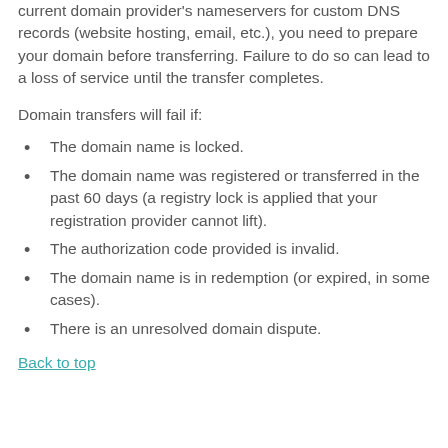current domain provider's nameservers for custom DNS records (website hosting, email, etc.), you need to prepare your domain before transferring. Failure to do so can lead to a loss of service until the transfer completes.
Domain transfers will fail if:
The domain name is locked.
The domain name was registered or transferred in the past 60 days (a registry lock is applied that your registration provider cannot lift).
The authorization code provided is invalid.
The domain name is in redemption (or expired, in some cases).
There is an unresolved domain dispute.
Back to top